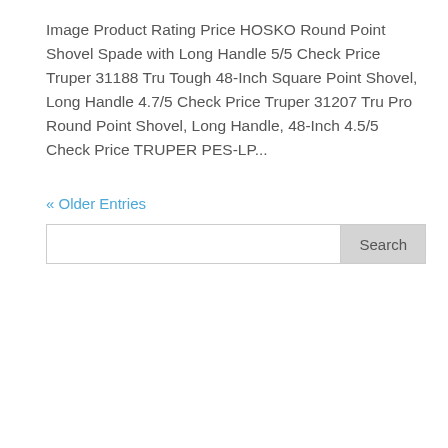Image Product Rating Price HOSKO Round Point Shovel Spade with Long Handle 5/5 Check Price Truper 31188 Tru Tough 48-Inch Square Point Shovel, Long Handle 4.7/5 Check Price Truper 31207 Tru Pro Round Point Shovel, Long Handle, 48-Inch 4.5/5 Check Price TRUPER PES-LP...
« Older Entries